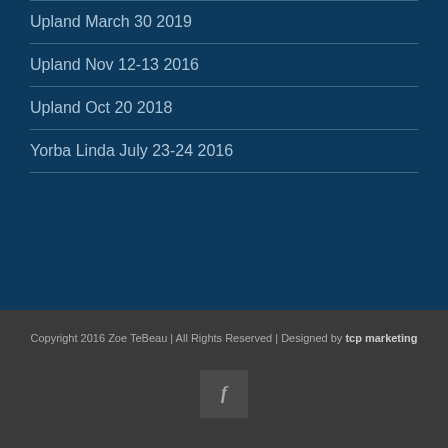Upland March 30 2019
Upland Nov 12-13 2016
Upland Oct 20 2018
Yorba Linda July 23-24 2016
Copyright 2016 Zoe TeBeau | All Rights Reserved | Designed by tcp marketing